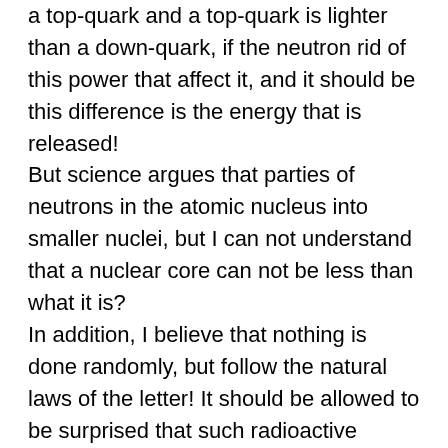a top-quark and a top-quark is lighter than a down-quark, if the neutron rid of this power that affect it, and it should be this difference is the energy that is released! But science argues that parties of neutrons in the atomic nucleus into smaller nuclei, but I can not understand that a nuclear core can not be less than what it is? In addition, I believe that nothing is done randomly, but follow the natural laws of the letter! It should be allowed to be surprised that such radioactive decay does not occur elsewhere in the solar system, because it's the same basic materials around the world! Therefore, I think what geologists and others say, and they are so sure, is not very credible,